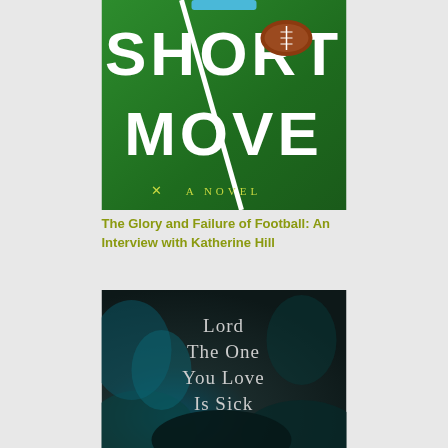[Figure (illustration): Book cover of 'Short Move: A Novel' — green football field background with white diagonal yard line, football in upper right, bold white text reading SHORT MOVE, olive-yellow subtitle 'A NOVEL']
The Glory and Failure of Football: An Interview with Katherine Hill
[Figure (illustration): Book cover of 'Lord The One You Love Is Sick' — dark moody forest background with teal/blue tones, text in light gray serif font reading 'Lord / The One / You Love / Is Sick']